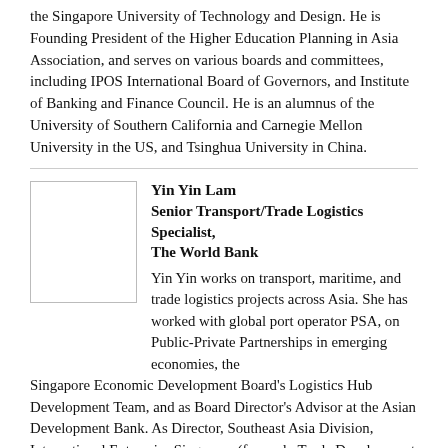the Singapore University of Technology and Design. He is Founding President of the Higher Education Planning in Asia Association, and serves on various boards and committees, including IPOS International Board of Governors, and Institute of Banking and Finance Council. He is an alumnus of the University of Southern California and Carnegie Mellon University in the US, and Tsinghua University in China.
[Figure (photo): Portrait photo placeholder box for Yin Yin Lam]
Yin Yin Lam
Senior Transport/Trade Logistics Specialist, The World Bank
Yin Yin works on transport, maritime, and trade logistics projects across Asia. She has worked with global port operator PSA, on Public-Private Partnerships in emerging economies, the Singapore Economic Development Board's Logistics Hub Development Team, and as Board Director's Advisor at the Asian Development Bank. As Director, Southeast Asia Division, International Enterprise Singapore (formerly Trade Development Board), she managed a regional team and facilitated Singapore-based companies to increase trade and investments in Southeast Asia. She holds a Bachelor's Degree in Economics (National University of Singapore), a Master's in Economics for Development (University of Oxford), and a Post-Graduate Diploma in Financial Sector